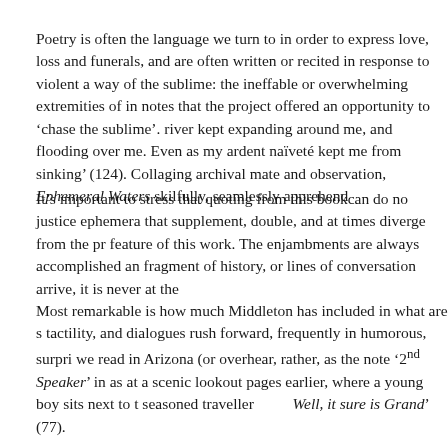Poetry is often the language we turn to in order to express love, loss and funerals, and are often written or recited in response to violent a way of the sublime: the ineffable or overwhelming extremities of in notes that the project offered an opportunity to 'chase the sublime'. river kept expanding around me, and flooding over me. Even as my ardent naiveté kept me from sinking' (124). Collaging archival mate and observation, Ephemeral Waters skilfully, seamlessly apprehend
It's important to stress that quoting from this bookcan do no justice ephemera that supplement, double, and at times diverge from the pr feature of this work. The enjambments are always accomplished an fragment of history, or lines of conversation arrive, it is never at the
Most remarkable is how much Middleton has included in what are s tactility, and dialogues rush forward, frequently in humorous, surpri we read in Arizona (or overhear, rather, as the note '2nd Speaker' in as at a scenic lookout pages earlier, where a young boy sits next to t seasoned traveller          Well, it sure is Grand' (77).